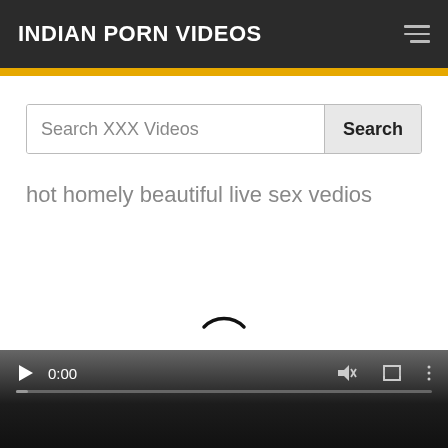INDIAN PORN VIDEOS
Search XXX Videos
Search
hot homely beautiful live sex vedios
[Figure (other): Video player showing a loading spinner (arc) and playback controls bar with play button, time 0:00, volume, fullscreen, and menu icons, with a progress bar at the bottom.]